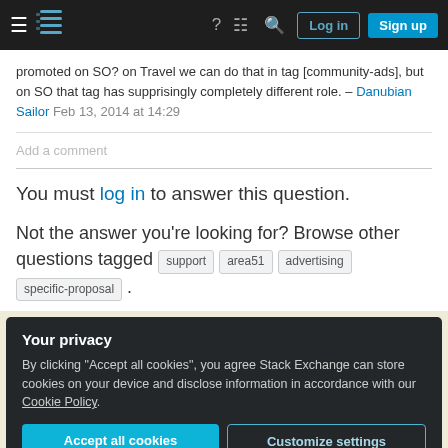Stack Exchange navigation bar with Log in and Sign up buttons
promoted on SO? on Travel we can do that in tag [community-ads], but on SO that tag has supprisingly completely different role. – Danubian Sailor Feb 13, 2014 at 14:29
Add a comment
You must log in to answer this question.
Not the answer you're looking for? Browse other questions tagged support area51 advertising specific-proposal .
Your privacy
By clicking "Accept all cookies", you agree Stack Exchange can store cookies on your device and disclose information in accordance with our Cookie Policy.
Accept all cookies
Customize settings
About    Help